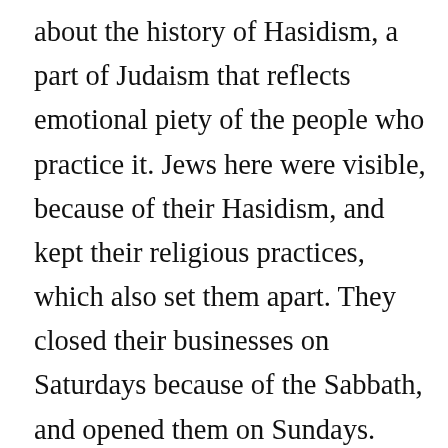about the history of Hasidism, a part of Judaism that reflects emotional piety of the people who practice it. Jews here were visible, because of their Hasidism, and kept their religious practices, which also set them apart. They closed their businesses on Saturdays because of the Sabbath, and opened them on Sundays. They wore clothing and earlocks which set them apart in appearance. Their identity was very deeply connected to their religious practices and beliefs.  Like Christianity, but unlike Judaism, Hasidism relied upon the personal relationship to God. If you felt love for God, he will understand